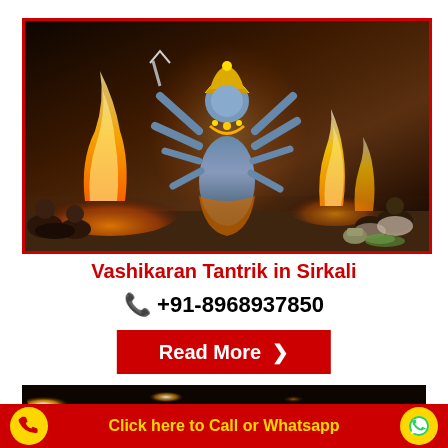[Figure (photo): Photo of a Hindu religious ceremony with a multi-armed goddess statue (Kali/Durga) in the center, devotees seated around a fire ritual (havan/yagna), with flames visible on both sides. The scene is set in a temple or outdoor ceremonial space.]
Vashikaran Tantrik in Sirkali
📞 +91-8968937850
Read More ›
[Figure (photo): Dark atmospheric photo with warm orange and yellow glowing light on a dark background, appearing to be a fire or lamp.]
Click here to Call or Whatsapp